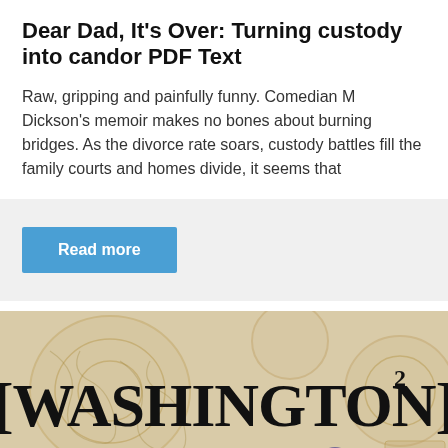Dear Dad, It's Over: Turning custody into candor PDF Text
Raw, gripping and painfully funny. Comedian M Dickson's memoir makes no bones about burning bridges. As the divorce rate soars, custody battles fill the family courts and homes divide, it seems that
Read more
[Figure (illustration): Book cover image showing '[WASHINGTON]²' title in large bold block letters over a decorative golden swirl/Celtic knot background, with subtitle '20 años siendo testigo de la realidad política de Washing...' and a partial illustration of a person with blue/purple hair in the lower right.]